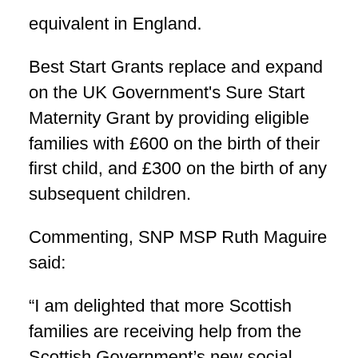equivalent in England.
Best Start Grants replace and expand on the UK Government's Sure Start Maternity Grant by providing eligible families with £600 on the birth of their first child, and £300 on the birth of any subsequent children.
Commenting, SNP MSP Ruth Maguire said:
“I am delighted that more Scottish families are receiving help from the Scottish Government’s new social security system, which puts dignity, respect and fairness at its heart.
“£2.7 million worth of payments – more than the DWP paid out in a full year under the previous system – will